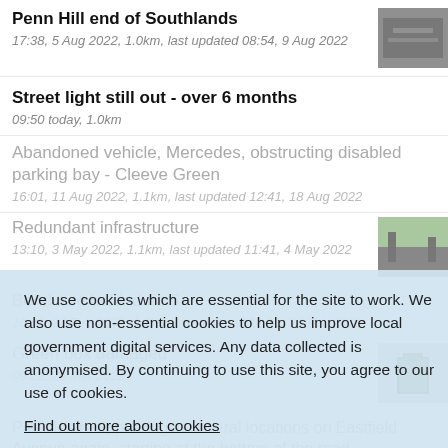Penn Hill end of Southlands
17:38, 5 Aug 2022, 1.0km, last updated 08:54, 9 Aug 2022
Street light still out - over 6 months
09:50 today, 1.0km
Abandoned vehicle, Mercedes, obstructing disabled parking bay - Cleeve Green
16:01, 11 Aug 2022, 1.1km, last updated 12:41, 18 Aug 2022
Redundant infrastructure
13:10, 3 May 2022, 1.1km, last updated 11:41, 4 May 2022
Bend tree behind no 6
10:48, 24 Feb 2022, 1.1km, last updated 12:13, 24 Feb 2022
Green box damaged
09:22, 26 Mar 2022
We use cookies which are essential for the site to work. We also use non-essential cookies to help us improve local government digital services. Any data collected is anonymised. By continuing to use this site, you agree to our use of cookies.
Find out more about cookies
Hide this message
Potholes re appearing in several locations on Eastfield Avenue again, starting at the bottom of the road